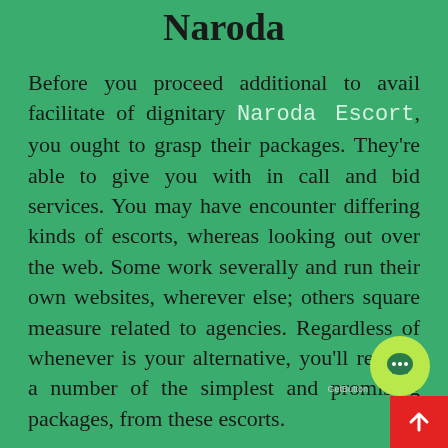Naroda
Before you proceed additional to avail facilitate of dignitary Naroda Escort, you ought to grasp their packages. They're able to give you with in call and bid services. You may have encounter differing kinds of escorts, whereas looking out over the web. Some work severally and run their own websites, wherever else; others square measure related to agencies. Regardless of whenever is your alternative, you'll receive a number of the simplest and promising packages, from these escorts.
If you're willing to avail facilitate from Naroda feminine Escort Services, you ought to bear in mind of their costs and packages. Guarantee to unravel all financial problems before availing are facilitates. Whenever you're coming up with for a few fun in any